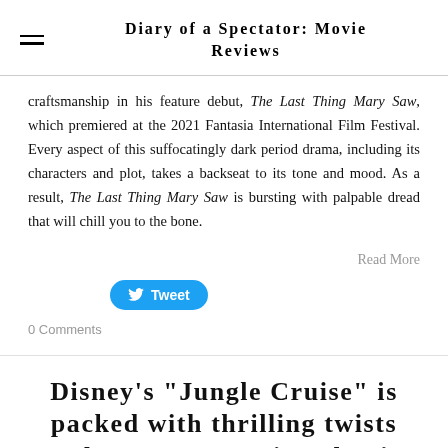Diary of a Spectator: Movie Reviews
craftsmanship in his feature debut, The Last Thing Mary Saw, which premiered at the 2021 Fantasia International Film Festival. Every aspect of this suffocatingly dark period drama, including its characters and plot, takes a backseat to its tone and mood. As a result, The Last Thing Mary Saw is bursting with palpable dread that will chill you to the bone.
Read More
[Figure (other): Tweet button with Twitter bird icon]
0 Comments
Disney’s “Jungle Cruise” is packed with thrilling twists and turns, recreating classic